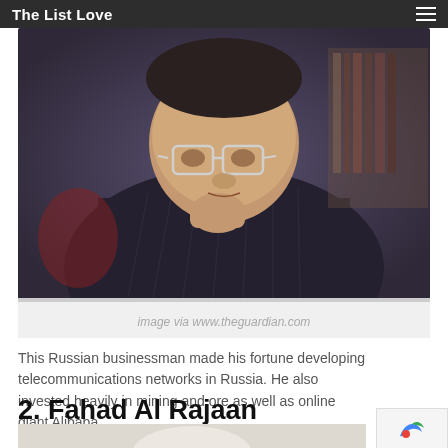The List Love
[Figure (photo): A heavyset man in a dark pinstripe suit sitting at a desk with his hand raised to his chin, wearing large glasses, with bookshelves visible in the background.]
image via www.theguardian.com
This Russian businessman made his fortune developing telecommunications networks in Russia. He also invested heavily in mining and ore as well as online giant Alibaba.
2. Fahad Al Rajaan
[Figure (photo): Partial photo of a person, only top of head visible, cut off at bottom of page.]